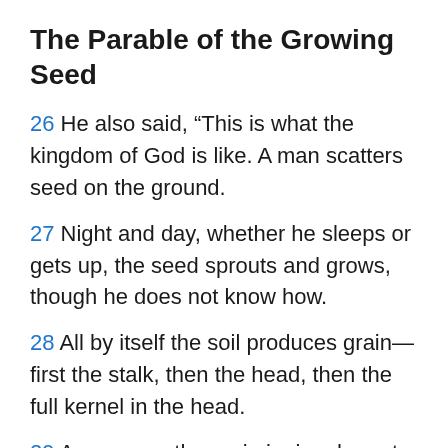The Parable of the Growing Seed
26 He also said, “This is what the kingdom of God is like. A man scatters seed on the ground.
27 Night and day, whether he sleeps or gets up, the seed sprouts and grows, though he does not know how.
28 All by itself the soil produces grain—first the stalk, then the head, then the full kernel in the head.
29 As soon as the grain is ripe, he puts the sickle to it, because the harvest has come.”